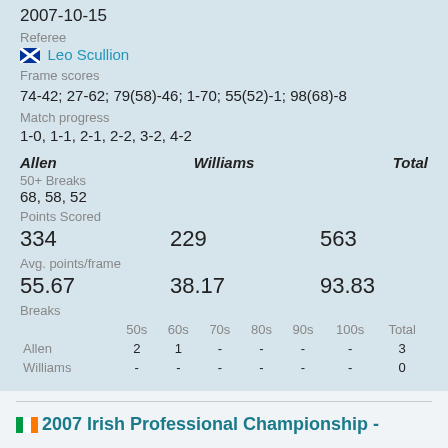2007-10-15
Referee
Leo Scullion
Frame scores
74-42; 27-62; 79(58)-46; 1-70; 55(52)-1; 98(68)-8
Match progress
1-0, 1-1, 2-1, 2-2, 3-2, 4-2
| Allen | Williams | Total |
| --- | --- | --- |
| 50+ Breaks |  |  |
| 68, 58, 52 |  |  |
| Points Scored |  |  |
| 334 | 229 | 563 |
| Avg. points/frame |  |  |
| 55.67 | 38.17 | 93.83 |
| Breaks |  |  |
|  | 50s | 60s | 70s | 80s | 90s | 100s | Total |
| --- | --- | --- | --- | --- | --- | --- | --- |
| Allen | 2 | 1 | - | - | - | - | 3 |
| Williams | - | - | - | - | - | - | 0 |
2007 Irish Professional Championship -